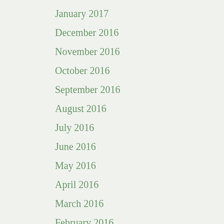January 2017
December 2016
November 2016
October 2016
September 2016
August 2016
July 2016
June 2016
May 2016
April 2016
March 2016
February 2016
January 2016
December 2015
November 2015
September 2015
August 2015